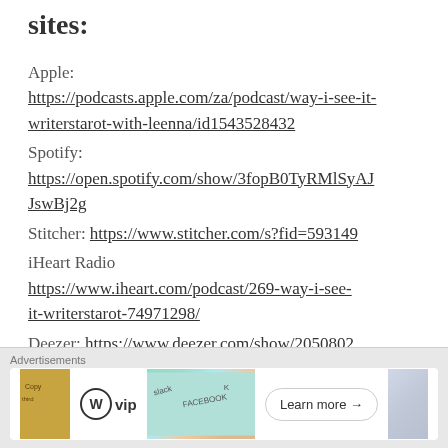sites:
Apple:
https://podcasts.apple.com/za/podcast/way-i-see-it-writerstarot-with-leenna/id1543528432
Spotify:
https://open.spotify.com/show/3fopB0TyRMlSyAJJswBj2g
Stitcher: https://www.stitcher.com/s?fid=593149
iHeart Radio
https://www.iheart.com/podcast/269-way-i-see-it-writerstarot-74971298/
Deezer: https://www.deezer.com/show/2050802
[Figure (infographic): Advertisement banner with WordPress VIP logo and Learn more button]